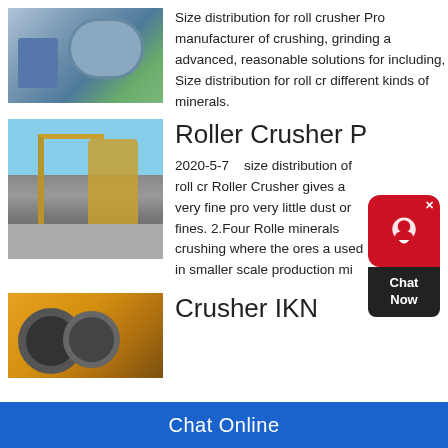[Figure (photo): Industrial ball mill inside a factory, large cylindrical drum]
Size distribution for roll crusher Pro manufacturer of crushing, grinding a advanced, reasonable solutions for including, Size distribution for roll cr different kinds of minerals.
[Figure (photo): Outdoor industrial roller crusher machinery with crane structures against blue sky]
Roller Crusher Proc
2020-5-7  size distribution of roll cr Roller Crusher gives a very fine pro very little dust or fines. 2.Four Rolle minerals crushing where the ores a used in smaller scale production mi
[Figure (photo): Yellow IKN crusher machinery]
Crusher IKN
Chat Online